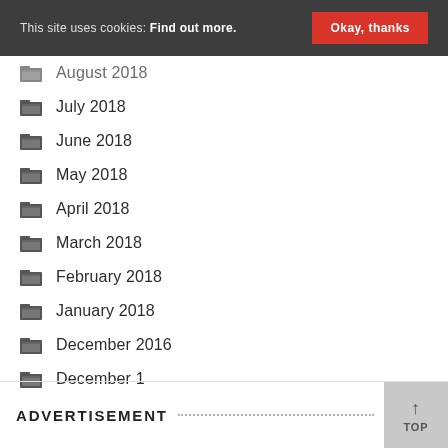This site uses cookies: Find out more. Okay, thanks
August 2018
July 2018
June 2018
May 2018
April 2018
March 2018
February 2018
January 2018
December 2016
December 1
ADVERTISEMENT TOP